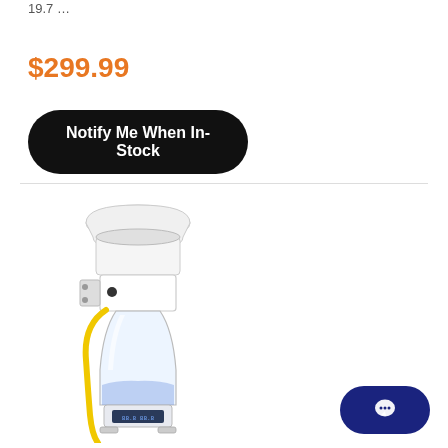19.7 …
$299.99
Notify Me When In-Stock
[Figure (photo): Product photo of an aquarium protein skimmer — a tall cylindrical clear acrylic tube with a white collection cup on top, a yellow silicone hose running down one side, and a small digital display at the base. The unit has a white mounting bracket/body mid-section.]
[Figure (other): Dark navy blue rounded pill-shaped chat button with a white speech bubble / chat icon in the center, located at the bottom right corner.]